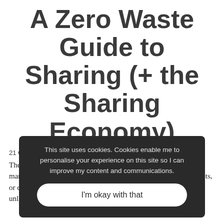A Zero Waste Guide to Sharing (+ the Sharing Economy)
21 Comments / in Living With Less Waste, Minimalism, Zero
This site uses cookies. Cookies enable me to personalise your experience on this site so I can improve my content and communications.
I'm okay with that
There's already a lot of stuff in the world. Dare I even say, to manufacturers declared they would be making no more cutlery sets, or dining chairs, or cushions in the foreseeable future, it's unlikely you'd be unable